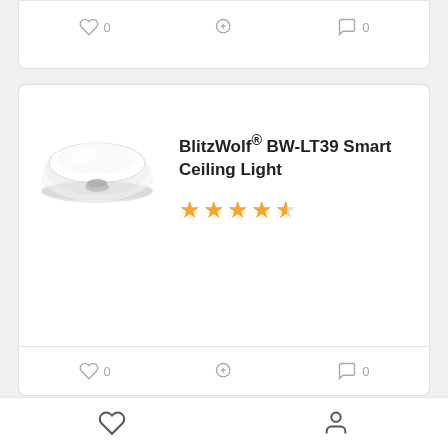[Figure (screenshot): Partial product card action bar with heart (0), zoom, and comment (0) icons]
[Figure (photo): BlitzWolf BW-LT39 Smart Ceiling Light product image - white round ceiling lamp]
BlitzWolf® BW-LT39 Smart Ceiling Light
[Figure (other): 4.5 star rating shown in orange stars]
[Figure (screenshot): Product card action bar with heart (0), zoom, and comment (0) icons]
[Figure (photo): BlitzWolf BW-WOO3 Bluetooth Speaker product image - black speaker with two microphones]
BlitzWolf® BW-WOO3 Bluetooth Speaker
[Figure (screenshot): Bottom navigation bar with heart and user profile icons]